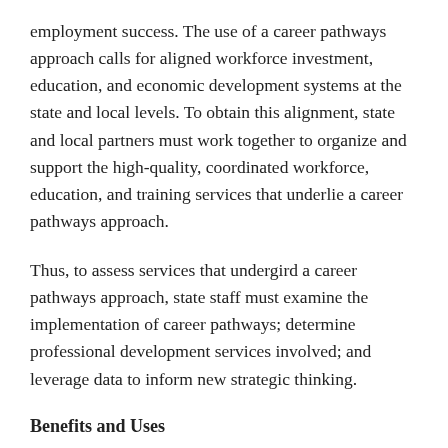employment success. The use of a career pathways approach calls for aligned workforce investment, education, and economic development systems at the state and local levels. To obtain this alignment, state and local partners must work together to organize and support the high-quality, coordinated workforce, education, and training services that underlie a career pathways approach.
Thus, to assess services that undergird a career pathways approach, state staff must examine the implementation of career pathways; determine professional development services involved; and leverage data to inform new strategic thinking.
Benefits and Uses
This policy brief is best used by state adult education staff in understanding career pathways implementation under WIOA, developing career pathways systems of their own,